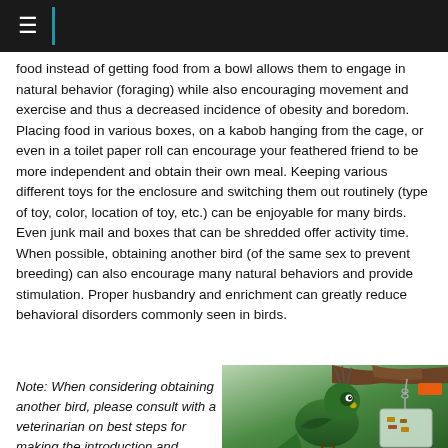≡
food instead of getting food from a bowl allows them to engage in natural behavior (foraging) while also encouraging movement and exercise and thus a decreased incidence of obesity and boredom. Placing food in various boxes, on a kabob hanging from the cage, or even in a toilet paper roll can encourage your feathered friend to be more independent and obtain their own meal. Keeping various different toys for the enclosure and switching them out routinely (type of toy, color, location of toy, etc.) can be enjoyable for many birds. Even junk mail and boxes that can be shredded offer activity time. When possible, obtaining another bird (of the same sex to prevent breeding) can also encourage many natural behaviors and provide stimulation. Proper husbandry and enrichment can greatly reduce behavioral disorders commonly seen in birds.
Note: When considering obtaining another bird, please consult with a veterinarian on best steps for making the introduction and keeping both birds healthy and safe! Should
[Figure (photo): A green parrot/conure bird perched near a hanging foraging toy (a transparent container with food, suspended by a chain from a branch), with an orange tab/handle visible.]